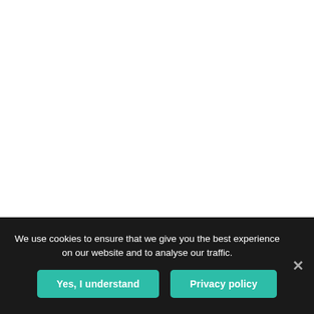We use cookies to ensure that we give you the best experience on our website and to analyse our traffic.
Yes, I understand
Privacy policy